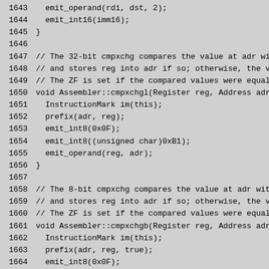1643   emit_operand(rdi, dst, 2);
1644   emit_int16(imm16);
1645 }
1646
1647 // The 32-bit cmpxchg compares the value at adr with
1648 // and stores reg into adr if so; otherwise, the va
1649 // The ZF is set if the compared values were equal,
1650 void Assembler::cmpxchgl(Register reg, Address adr)
1651   InstructionMark im(this);
1652   prefix(adr, reg);
1653   emit_int8(0x0F);
1654   emit_int8((unsigned char)0xB1);
1655   emit_operand(reg, adr);
1656 }
1657
1658 // The 8-bit cmpxchg compares the value at adr with
1659 // and stores reg into adr if so; otherwise, the va
1660 // The ZF is set if the compared values were equal,
1661 void Assembler::cmpxchgb(Register reg, Address adr)
1662   InstructionMark im(this);
1663   prefix(adr, reg, true);
1664   emit_int8(0x0F);
1665   emit_int8((unsigned char)0xB0);
1666   emit_operand(reg, adr);
1667 }
1668
1669 void Assembler::comisd(XMMRegister dst, Address src)
1670   // NOTE: dbx seems to decode this as comiss even f
1671   // 0x66 is there. Strangly ucomisd comes out corre
1672 NOT_LP64(assert(VM_Version::supports_sse2(), ""))